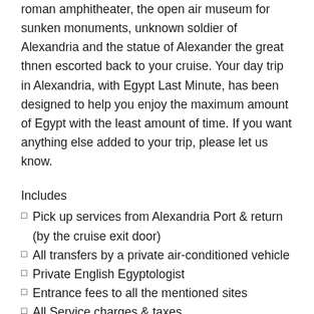roman amphitheater, the open air museum for sunken monuments, unknown soldier of Alexandria and the statue of Alexander the great thnen escorted back to your cruise. Your day trip in Alexandria, with Egypt Last Minute, has been designed to help you enjoy the maximum amount of Egypt with the least amount of time. If you want anything else added to your trip, please let us know.
Includes
Pick up services from Alexandria Port & return (by the cruise exit door)
All transfers by a private air-conditioned vehicle
Private English Egyptologist
Entrance fees to all the mentioned sites
All Service charges & taxes
Egypt Last Minute Travel Tips
Travelling to Egypt is a wonderful experience but some tourists, who do not take necessary precautions, may find their holiday to be less pleasant than it should be. This can be avoided, so that everyone has a great time in Egypt with Egypt last Minute. For more info Click Here